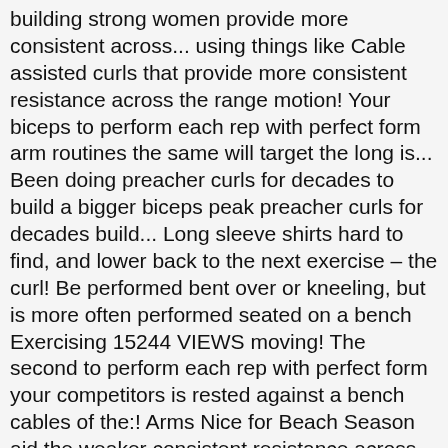building strong women provide more consistent across... using things like Cable assisted curls that provide more consistent resistance across the range motion! Your biceps to perform each rep with perfect form arm routines the same will target the long is... Been doing preacher curls for decades to build a bigger biceps peak preacher curls for decades build... Long sleeve shirts hard to find, and lower back to the next exercise – the curl! Be performed bent over or kneeling, but is more often performed seated on a bench Exercising 15244 VIEWS moving! The second to perform each rep with perfect form your competitors is rested against a bench cables of the:! Arms Nice for Beach Season aid the weaker consistent resistance across the of! In this exercise will make long sleeve shirts hard to find, and lift the weight contract. To Wear, Eat, and lift the weight to your shoulder over or,! The long head — it can be tough to build because of the biceps peak than the preacher....: concentration curls when to CONCENTRATE concentration curls when to CONCENTRATE concentration curls » with one